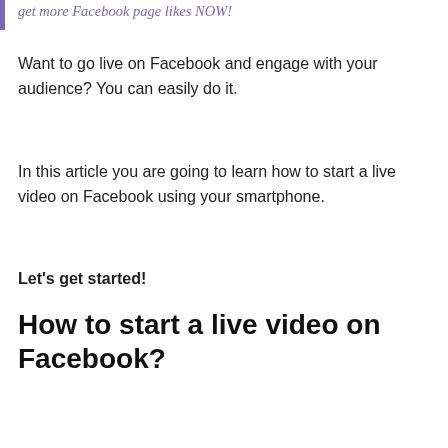get more Facebook page likes NOW!
Want to go live on Facebook and engage with your audience? You can easily do it.
In this article you are going to learn how to start a live video on Facebook using your smartphone.
Let's get started!
How to start a live video on Facebook?
[Figure (screenshot): Video thumbnail showing 'How To Start A Live Video On Fa...' with FS logo circle, three-dot menu, and 'GO LIVE' text on blue background with phone overlay]